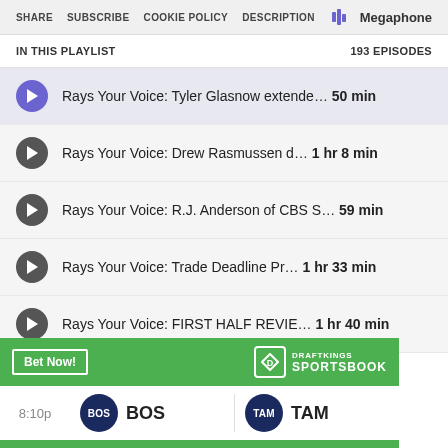SHARE  SUBSCRIBE  COOKIE POLICY  DESCRIPTION  Megaphone
IN THIS PLAYLIST  193 EPISODES
Rays Your Voice: Tyler Glasnow extende… 50 min
Rays Your Voice: Drew Rasmussen d…  1 hr 8 min
Rays Your Voice: R.J. Anderson of CBS S… 59 min
Rays Your Voice: Trade Deadline Pr…  1 hr 33 min
Rays Your Voice: FIRST HALF REVIE… 1 hr 40 min
[Figure (infographic): DraftKings Sportsbook ad showing Bet Now button and a matchup: 8:10p, BOS vs TAM]